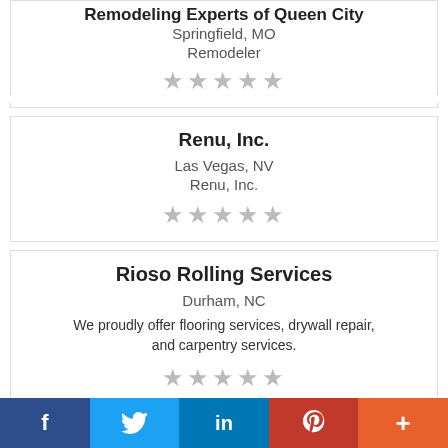Remodeling Experts of Queen City
Springfield, MO
Remodeler
[Figure (other): 5 empty star rating]
Renu, Inc.
Las Vegas, NV
Renu, Inc.
[Figure (other): 5 empty star rating]
Rioso Rolling Services
Durham, NC
We proudly offer flooring services, drywall repair, and carpentry services.
[Figure (other): 5 empty star rating]
f  Twitter  in  P  +